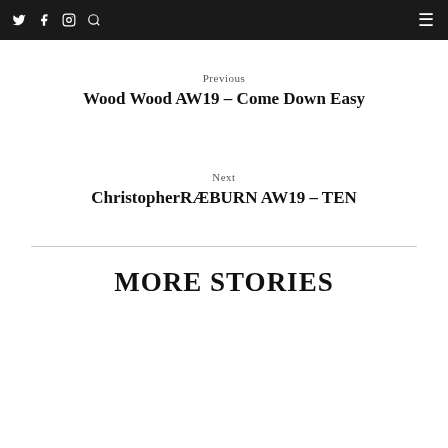Twitter Facebook Instagram Search | Menu
Previous
Wood Wood AW19 – Come Down Easy
Next
ChristopherRÆBURN AW19 – TEN
MORE STORIES